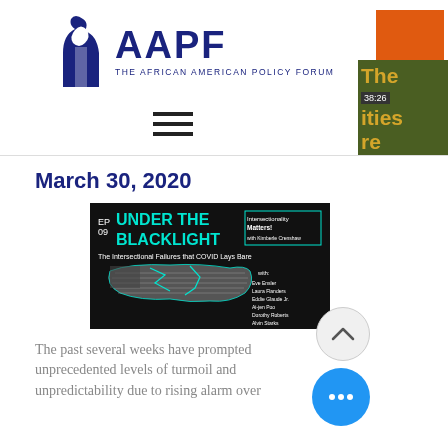[Figure (logo): AAPF - The African American Policy Forum logo with stylized figure icon in dark blue]
[Figure (other): Hamburger menu icon (three horizontal lines)]
[Figure (other): Right panel showing orange rectangle and green book/podcast cover with yellow text reading 'The', '38:26', 'ities', 're']
March 30, 2020
[Figure (photo): Podcast cover art for 'EP 09 UNDER THE BLACKLIGHT: The Intersectional Failures that COVID Lays Bare' - Intersectionality Matters! with Kimberle Crenshaw. Features US map outline with American flag design. With: Eve Ensler, Laura Flanders, Eddie Glaude Jr., Ai-jen Poo, Dorothy Roberts, Alvin Starks]
The past several weeks have prompted unprecedented levels of turmoil and unpredictability due to rising alarm over